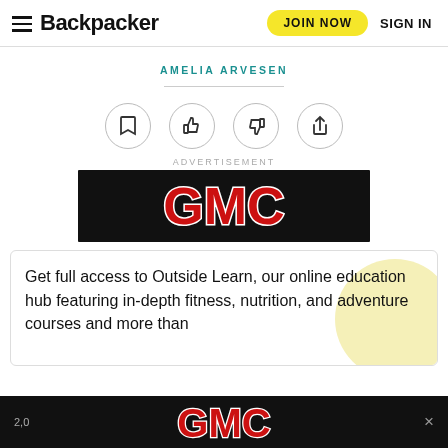Backpacker | JOIN NOW | SIGN IN
AMELIA ARVESEN
[Figure (illustration): Four circular icon buttons: bookmark, thumbs up, thumbs down, share]
ADVERTISEMENT
[Figure (logo): GMC logo on black background, red letters with white outline]
Get full access to Outside Learn, our online education hub featuring in-depth fitness, nutrition, and adventure courses and more than
[Figure (logo): GMC logo on black background at bottom of page, red letters with white outline, with close X button]